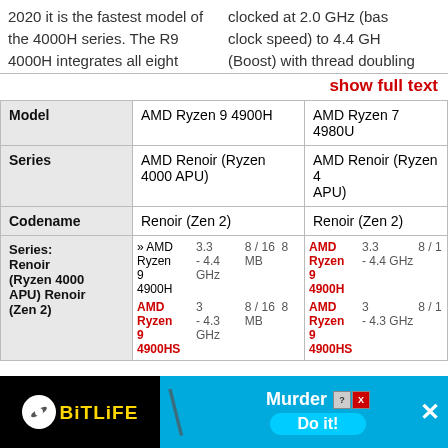2020 it is the fastest model of the 4000H series. The R9 4000H integrates all eight
clocked at 2.0 GHz (base clock speed) to 4.4 GHz (Boost) with thread doubling
show full text
|  | AMD Ryzen 9 4900H | AMD Ryzen 7 4980U |
| --- | --- | --- |
| Model | AMD Ryzen 9 4900H | AMD Ryzen 7 4980U |
| Series | AMD Renoir (Ryzen 4000 APU) | AMD Renoir (Ryzen 4000 APU) |
| Codename | Renoir (Zen 2) | Renoir (Zen 2) |
| Series: Renoir (Ryzen 4000 APU) Renoir (Zen 2) | » AMD Ryzen 9 4900H — 3.3 - 4.4 GHz — 8/16 — 8 MB
AMD Ryzen 9 4900HS — 3 - 4.3 GHz — 8/16 — 8 MB | AMD Ryzen 9 4900H — 3.3 - 4.4 GHz — 8/1
AMD Ryzen 9 4900HS — 3 - 4.3 GHz — 8/1 |
[Figure (other): BitLife advertisement banner with murder theme, Do it! button]